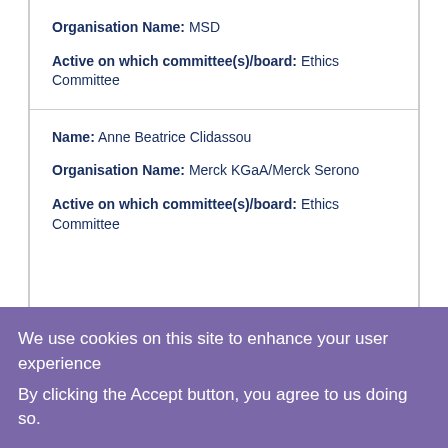Organisation Name: MSD
Active on which committee(s)/board: Ethics Committee
Name: Anne Beatrice Clidassou
Organisation Name: Merck KGaA/Merck Serono
Active on which committee(s)/board: Ethics Committee
We use cookies on this site to enhance your user experience
By clicking the Accept button, you agree to us doing so.